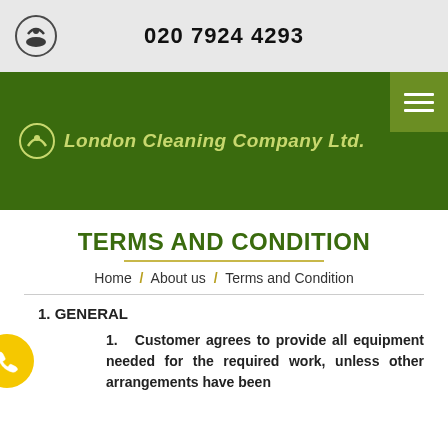020 7924 4293
[Figure (logo): London Cleaning Company Ltd. logo with green banner and menu button]
TERMS AND CONDITION
Home / About us / Terms and Condition
1. GENERAL
1. Customer agrees to provide all equipment needed for the required work, unless other arrangements have been